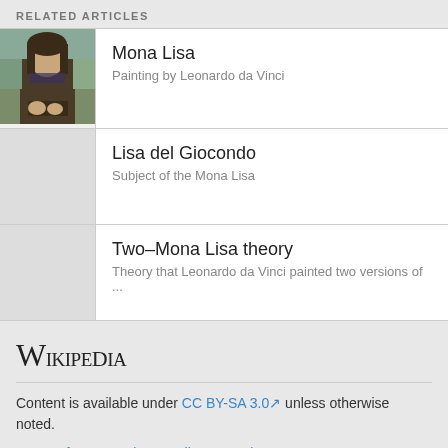RELATED ARTICLES
| Image | Article | Description |
| --- | --- | --- |
| [Mona Lisa image] | Mona Lisa | Painting by Leonardo da Vinci |
| [no image] | Lisa del Giocondo | Subject of the Mona Lisa |
| [no image] | Two–Mona Lisa theory | Theory that Leonardo da Vinci painted two versions of ... |
[Figure (logo): Wikipedia logo text]
Content is available under CC BY-SA 3.0 unless otherwise noted.
Terms of Use • Privacy policy • Desktop